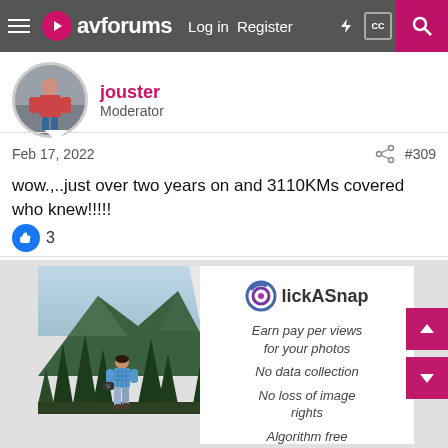avforums  Log in  Register  #309
jouster
Moderator
Feb 17, 2022  #309
wow.,..just over two years on and 3110KMs covered who knew!!!!!
3
[Figure (screenshot): ClickASnap advertisement showing a man with a camera walking towards mountains and trees, with text: Earn pay per views for your photos, No data collection, No loss of image rights, Algorithm free]